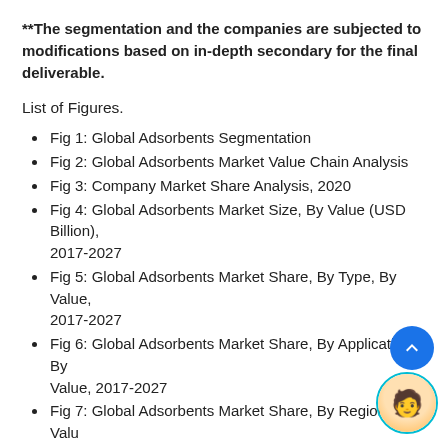**The segmentation and the companies are subjected to modifications based on in-depth secondary for the final deliverable.
List of Figures.
Fig 1: Global Adsorbents Segmentation
Fig 2: Global Adsorbents Market Value Chain Analysis
Fig 3: Company Market Share Analysis, 2020
Fig 4: Global Adsorbents Market Size, By Value (USD Billion), 2017-2027
Fig 5: Global Adsorbents Market Share, By Type, By Value, 2017-2027
Fig 6: Global Adsorbents Market Share, By Application, By Value, 2017-2027
Fig 7: Global Adsorbents Market Share, By Region, By Value, 2017-2027
Fig 8: North America Adsorbents Market Size, By Value (USD Billion), 2017-2027
Fig 9: North America Adsorbents Market Share, By Type, By Value, 2017-2027